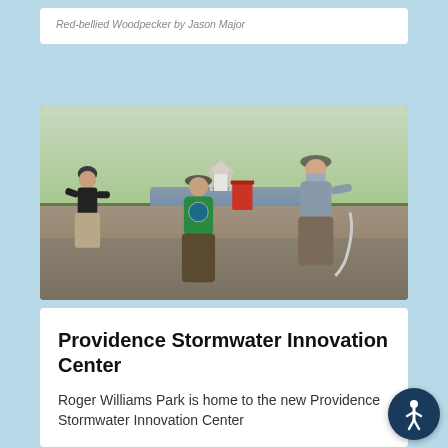Red-bellied Woodpecker by Jason Major
[Figure (photo): Three people wearing masks working outdoors at a stone wall next to a pond in a park. One person in a green shirt kneels at the wall, another woman sits on the left, and a third person in a blue shirt works on the right. Trees and a small white structure are visible in the background. A red bucket is on the wall.]
Providence Stormwater Innovation Center
Roger Williams Park is home to the new Providence Stormwater Innovation Center